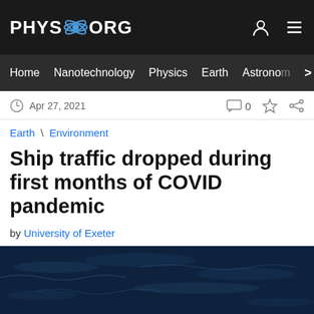PHYS.ORG
Home | Nanotechnology | Physics | Earth | Astronomy
Apr 27, 2021   0
Earth \ Environment
Ship traffic dropped during first months of COVID pandemic
by University of Exeter
[Figure (photo): Aerial view of a red cargo ship sailing on dark blue ocean water, photographed from above.]